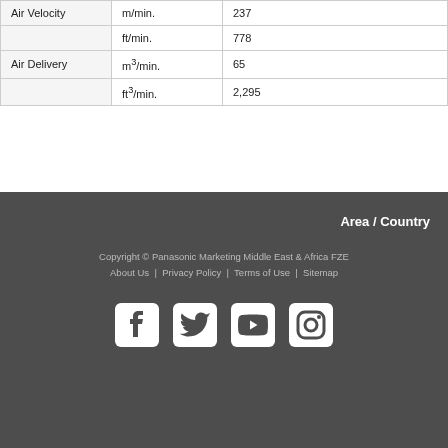| Air Velocity | m/min. | 237 |
|  | ft/min. | 778 |
| Air Delivery | m³/min. | 65 |
|  | ft³/min. | 2,295 |
Area / Country
Copyright © Panasonic Marketing Middle East & Africa FZE
About Us | Privacy Policy | Terms of Use | Sitemap
[Figure (other): Social media icons: Facebook, Twitter, YouTube, Instagram]